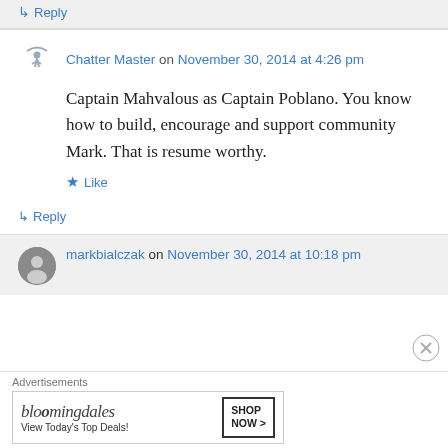↵ Reply
Chatter Master on November 30, 2014 at 4:26 pm
Captain Mahvalous as Captain Poblano. You know how to build, encourage and support community Mark. That is resume worthy.
★ Like
↵ Reply
markbialczak on November 30, 2014 at 10:18 pm
Advertisements
[Figure (other): Bloomingdale's advertisement banner: 'bloomingdales - View Today's Top Deals! SHOP NOW >']